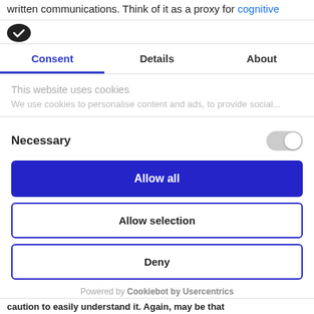written communications. Think of it as a proxy for cognitive
[Figure (logo): Dark oval badge with white checkmark icon]
Consent | Details | About (tab bar)
This website uses cookies
We use cookies to personalise content and ads, to provide social...
Necessary (toggle off)
Allow all (button)
Allow selection (button)
Deny (button)
Powered by Cookiebot by Usercentrics
caution to easily understand it. Again, may be that